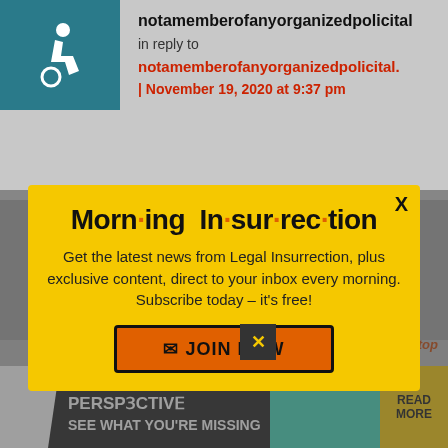notamemberofanyorganizedpolicital
in reply to
notamemberofanyorganizedpolicital.
| November 19, 2020 at 9:37 pm
[Figure (screenshot): Modal popup newsletter signup for 'Morning Insurrection' with yellow background, close X button, descriptive text and orange JOIN NOW button]
2020 at 7:23 pm
Back to top
[Figure (screenshot): Advertisement banner: THE PERSPECTIVE - SEE WHAT YOU'RE MISSING with READ MORE button on yellow background]